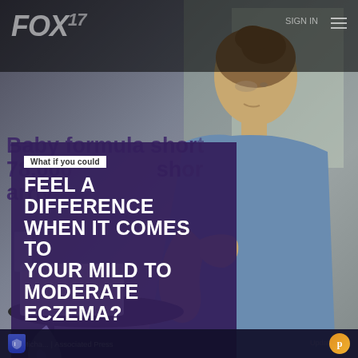[Figure (screenshot): FOX news website screenshot showing a woman scratching her arm (eczema content), with a purple advertisement overlay. Background shows a woman in a blue shirt sitting at a cafe table, looking down and scratching her arm. FOX logo visible top left. Navigation menu top right.]
Baby formula shortage affects 78,000 stores as imports arrive
[Figure (infographic): Purple advertisement overlay box with white text reading: What if you could FEEL A DIFFERENCE WHEN IT COMES TO YOUR MILD TO MODERATE ECZEMA?]
What if you could
FEEL A DIFFERENCE WHEN IT COMES TO YOUR MILD TO MODERATE ECZEMA?
By Michael ... | Associated Press
Updated ...